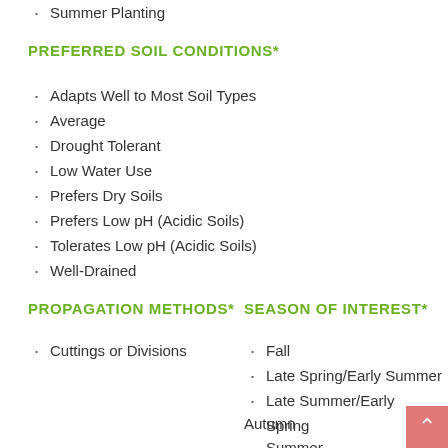Summer Planting
PREFERRED SOIL CONDITIONS*
Adapts Well to Most Soil Types
Average
Drought Tolerant
Low Water Use
Prefers Dry Soils
Prefers Low pH (Acidic Soils)
Tolerates Low pH (Acidic Soils)
Well-Drained
PROPAGATION METHODS*
SEASON OF INTEREST*
Cuttings or Divisions
Fall
Late Spring/Early Summer
Late Summer/Early Autumn
Spring
Summer